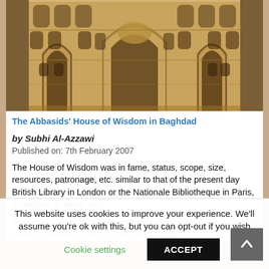[Figure (photo): Photograph of the Abbasids' House of Wisdom in Baghdad — ornate Islamic architecture with arched niches and intricate stonework in warm golden tones]
The Abbasids' House of Wisdom in Baghdad
by Subhi Al-Azzawi
Published on: 7th February 2007
The House of Wisdom was in fame, status, scope, size, resources, patronage, etc. similar to that of the present day British Library in London or the Nationale Bibliotheque in Paris, in addition to being an...
Tags: Abbasid - Architecture - Baghdad - Education - House of Wisdom - Places - Subhi Al-Azzawi
This website uses cookies to improve your experience. We'll assume you're ok with this, but you can opt-out if you wish. Cookie settings ACCEPT